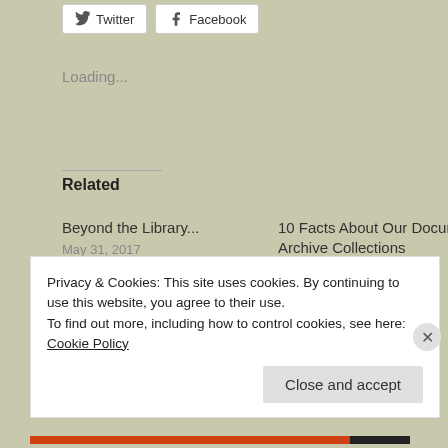[Figure (other): Twitter and Facebook share buttons]
Loading...
Related
Beyond the Library...
May 31, 2017
In "Beyond the Library"
10 Facts About Our Document & Archive Collections
June 1, 2018
In "10 Facts..."
10 Facts About the North
Privacy & Cookies: This site uses cookies. By continuing to use this website, you agree to their use.
To find out more, including how to control cookies, see here: Cookie Policy
Close and accept